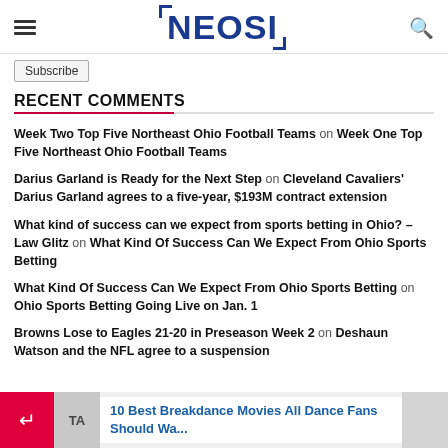NEOSI
Subscribe
RECENT COMMENTS
Week Two Top Five Northeast Ohio Football Teams on Week One Top Five Northeast Ohio Football Teams
Darius Garland is Ready for the Next Step on Cleveland Cavaliers' Darius Garland agrees to a five-year, $193M contract extension
What kind of success can we expect from sports betting in Ohio? – Law Glitz on What Kind Of Success Can We Expect From Ohio Sports Betting
What Kind Of Success Can We Expect From Ohio Sports Betting on Ohio Sports Betting Going Live on Jan. 1
Browns Lose to Eagles 21-20 in Preseason Week 2 on Deshaun Watson and the NFL agree to a suspension
10 Best Breakdance Movies All Dance Fans Should Wa...